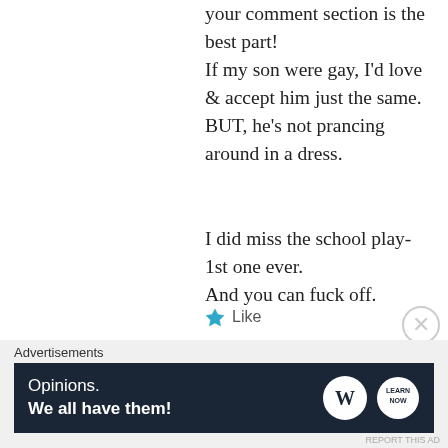your comment section is the best part!
If my son were gay, I'd love & accept him just the same. BUT, he's not prancing around in a dress.

I did miss the school play- 1st one ever.
And you can fuck off.
★ Like
DECEMBER 21, 2015 AT 3:18 AM | REPLY
Advertisements
[Figure (screenshot): WordPress advertisement banner: 'Opinions. We all have them!' with WordPress and Learn Now logos on dark navy background]